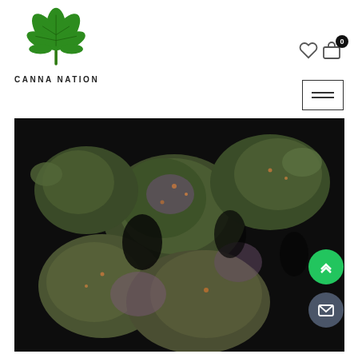[Figure (logo): Canna Nation logo with green cannabis leaf and text CANNA NATION below]
[Figure (photo): Close-up photograph of cannabis flower buds with green and purple hues on dark background]
[Figure (other): Navigation icons: heart (wishlist), shopping bag with badge showing 0, hamburger menu, green scroll-to-top button, dark email button]